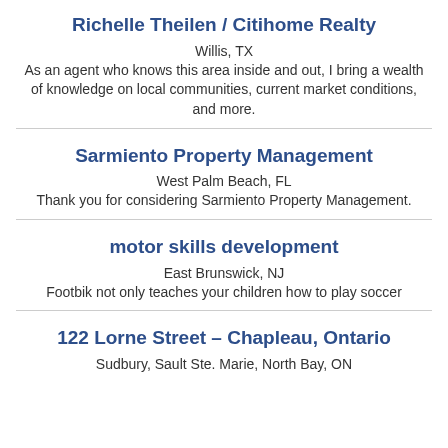Richelle Theilen / Citihome Realty
Willis, TX
As an agent who knows this area inside and out, I bring a wealth of knowledge on local communities, current market conditions, and more.
Sarmiento Property Management
West Palm Beach, FL
Thank you for considering Sarmiento Property Management.
motor skills development
East Brunswick, NJ
Footbik not only teaches your children how to play soccer
122 Lorne Street – Chapleau, Ontario
Sudbury, Sault Ste. Marie, North Bay, ON